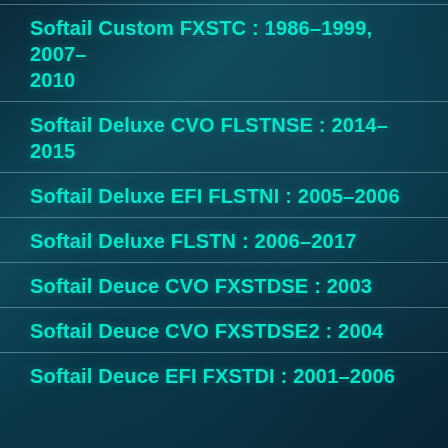Softail Custom FXSTC : 1986–1999, 2007–2010
Softail Deluxe CVO FLSTNSE : 2014–2015
Softail Deluxe EFI FLSTNI : 2005–2006
Softail Deluxe FLSTN : 2006–2017
Softail Deuce CVO FXSTDSE : 2003
Softail Deuce CVO FXSTDSE2 : 2004
Softail Deuce EFI FXSTDI : 2001–2006